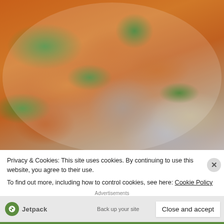[Figure (photo): A plate of stir-fried chicken with green onions, white onions, and spicy sauce, with a silver fork/spoon visible at the bottom right. The dish appears to be Thai or Asian stir-fry served on a white plate.]
Privacy & Cookies: This site uses cookies. By continuing to use this website, you agree to their use.
To find out more, including how to control cookies, see here: Cookie Policy
Advertisements
Jetpack    Back up your site
Close and accept